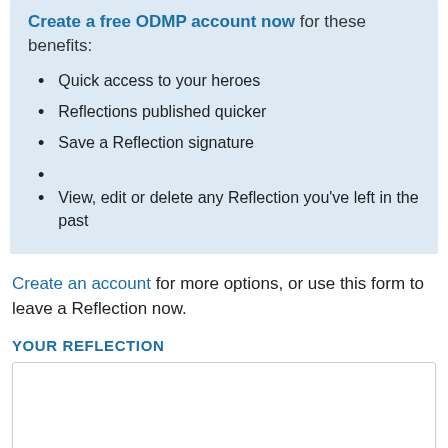Create a free ODMP account now for these benefits:
Quick access to your heroes
Reflections published quicker
Save a Reflection signature
View, edit or delete any Reflection you've left in the past
Create an account for more options, or use this form to leave a Reflection now.
YOUR REFLECTION